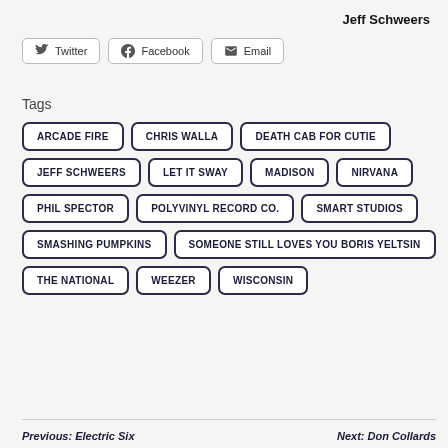Jeff Schweers
Twitter  Facebook  Email
Tags
ARCADE FIRE
CHRIS WALLA
DEATH CAB FOR CUTIE
JEFF SCHWEERS
LET IT SWAY
MADISON
NIRVANA
PHIL SPECTOR
POLYVINYL RECORD CO.
SMART STUDIOS
SMASHING PUMPKINS
SOMEONE STILL LOVES YOU BORIS YELTSIN
THE NATIONAL
WEEZER
WISCONSIN
Previous: Electric Six    Next: Don Collards